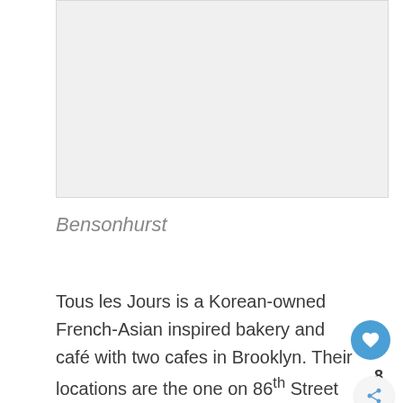[Figure (photo): Image placeholder (light gray rectangle) representing a photo of the location]
Bensonhurst
Tous les Jours is a Korean-owned French-Asian inspired bakery and café with two cafes in Brooklyn. Their locations are the one on 86th Street and 8th Ave., both in Bensonhurst